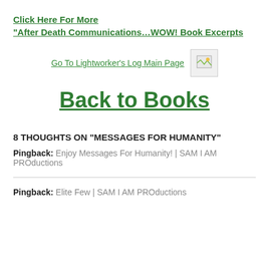Click Here For More
“After Death Communications…WOW! Book Excerpts
Go To Lightworker’s Log Main Page
Back to Books
8 THOUGHTS ON “MESSAGES FOR HUMANITY”
Pingback: Enjoy Messages For Humanity! | SAM I AM PROductions
Pingback: Elite Few | SAM I AM PROductions